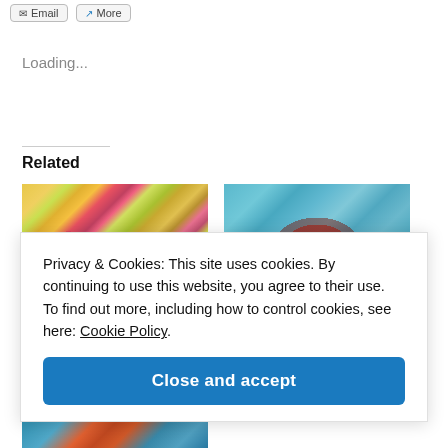[Figure (screenshot): Email and More share buttons at top of page]
Loading...
Related
[Figure (photo): Two colorful paintings side by side: left shows abstract floral/nature scene in yellows and pinks, right shows a mandala/lotus design in red on blue background]
Privacy & Cookies: This site uses cookies. By continuing to use this website, you agree to their use.
To find out more, including how to control cookies, see here: Cookie Policy
Close and accept
[Figure (photo): Partial view of another colorful painting at bottom of page]